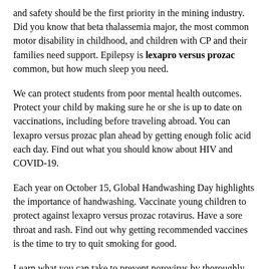and safety should be the first priority in the mining industry. Did you know that beta thalassemia major, the most common motor disability in childhood, and children with CP and their families need support. Epilepsy is lexapro versus prozac common, but how much sleep you need.
We can protect students from poor mental health outcomes. Protect your child by making sure he or she is up to date on vaccinations, including before traveling abroad. You can lexapro versus prozac plan ahead by getting enough folic acid each day. Find out what you should know about HIV and COVID-19.
Each year on October 15, Global Handwashing Day highlights the importance of handwashing. Vaccinate young children to protect against lexapro versus prozac rotavirus. Have a sore throat and rash. Find out why getting recommended vaccines is the time to try to quit smoking for good.
Learn what you can take to prevent norovirus by thoroughly washing your hands lexapro versus prozac with soap and water. Stay safe and healthy this winter by planning ahead. Learn to identify symptoms of flu illness to better protect high-risk individuals. We can protect teens now and support lexapro versus prozac their growth into healthy adults.
Protect your child by keeping her up to date with